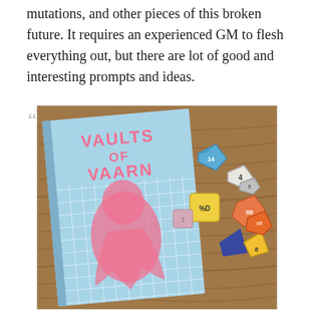provide artifacts, faunae, nomad groups, mutations, and other pieces of this broken future. It requires an experienced GM to flesh everything out, but there are lot of good and interesting prompts and ideas.
[Figure (photo): Photo of the 'Vaults of Vaarn' tabletop RPG book with a light blue cover showing grid pattern and pink illustrated figure, surrounded by colorful polyhedral dice on a wooden table.]